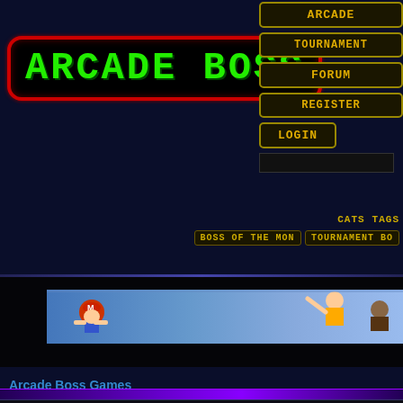ARCADE BOSS
ARCADE
TOURNAMENT
FORUM
REGISTER
LOGIN
CATS   TAGS
BOSS OF THE MON
TOURNAMENT BO
[Figure (screenshot): Arcade game banner showing Mario-like character and other gaming characters]
Arcade Boss Games
cc1800
72 Plays since September 5 2009